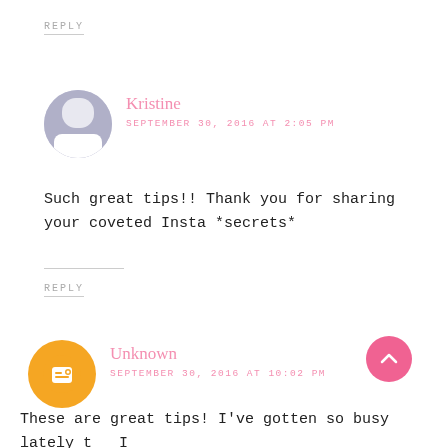REPLY
Kristine
SEPTEMBER 30, 2016 AT 2:05 PM
Such great tips!! Thank you for sharing your coveted Insta *secrets*
REPLY
Unknown
SEPTEMBER 30, 2016 AT 10:02 PM
These are great tips! I've gotten so busy lately that I cannot find a spare second for Instagram most days. But I definitely agree that these are by far the best